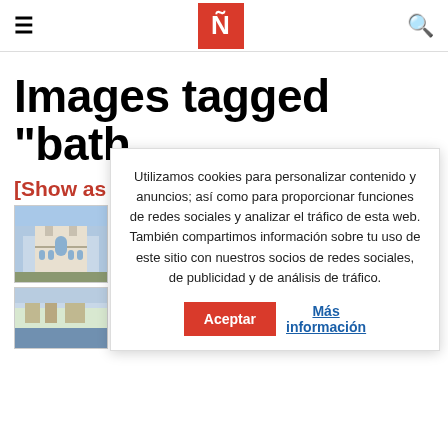≡  Ñ  🔍
Images tagged "bath
[Show as slid…
[Figure (photo): Cathedral building photo thumbnail]
[Figure (photo): River/city view photo thumbnail]
[Figure (photo): Urban street photo thumbnail]
[Figure (photo): Additional photo thumbnail]
Utilizamos cookies para personalizar contenido y anuncios; así como para proporcionar funciones de redes sociales y analizar el tráfico de esta web. También compartimos información sobre tu uso de este sitio con nuestros socios de redes sociales, de publicidad y de análisis de tráfico.  Aceptar  Más información